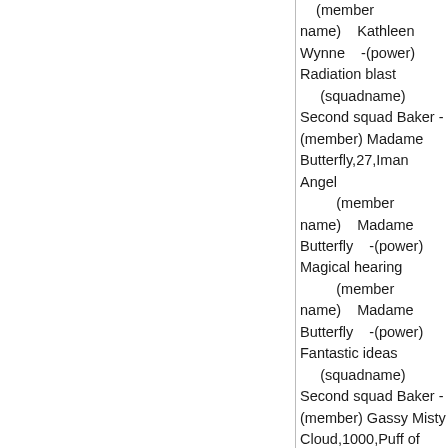(member name)    Kathleen Wynne    -(power) Radiation blast     (squadname) Second squad Baker -(member) Madame Butterfly,27,Iman Angel          (member name)    Madame Butterfly    -(power) Magical hearing          (member name)    Madame Butterfly    -(power) Fantastic ideas      (squadname) Second squad Baker -(member) Gassy Misty Cloud,1000,Puff of Smoke          (member name)    Gassy Misty Cloud    -(power) Immortality          (member name)    Gassy Misty Cloud    -(power) Heat and Flame Immunity          (member name)    Gassy Misty Cloud    -(power) Impossible hearing